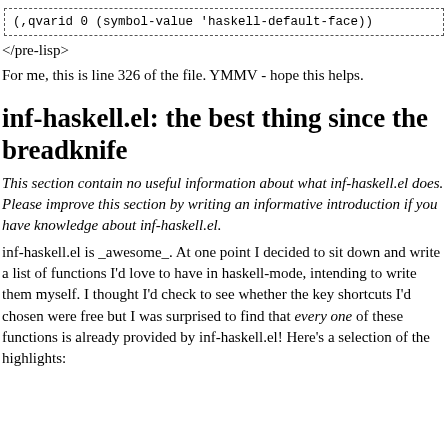(,qvarid 0 (symbol-value 'haskell-default-face))
</pre-lisp>
For me, this is line 326 of the file. YMMV - hope this helps.
inf-haskell.el: the best thing since the breadknife
This section contain no useful information about what inf-haskell.el does. Please improve this section by writing an informative introduction if you have knowledge about inf-haskell.el.
inf-haskell.el is _awesome_. At one point I decided to sit down and write a list of functions I'd love to have in haskell-mode, intending to write them myself. I thought I'd check to see whether the key shortcuts I'd chosen were free but I was surprised to find that every one of these functions is already provided by inf-haskell.el! Here's a selection of the highlights: